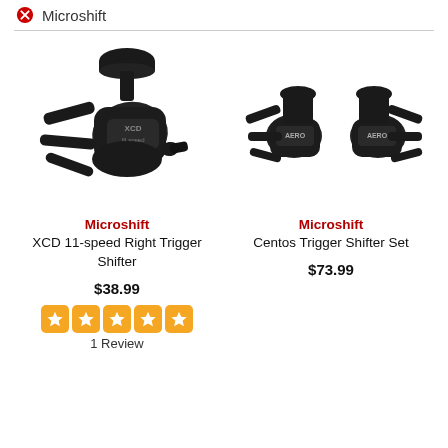Microshift
[Figure (photo): Microshift XCD 11-speed Right Trigger Shifter product photo - a black bicycle trigger shifter with handlebar clamp]
Microshift
XCD 11-speed Right Trigger Shifter
$38.99
1 Review
[Figure (photo): Microshift Centos Trigger Shifter Set product photo - two black bicycle trigger shifters (left and right pair)]
Microshift
Centos Trigger Shifter Set
$73.99